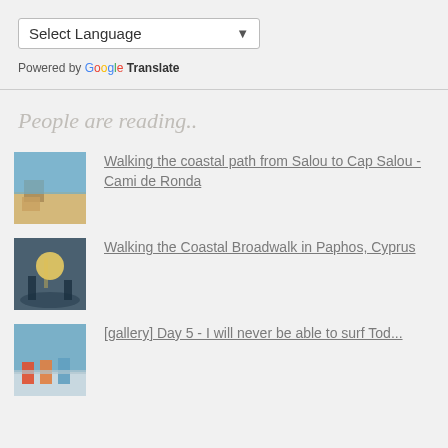[Figure (screenshot): Select Language dropdown widget with Google Translate attribution]
People are reading..
Walking the coastal path from Salou to Cap Salou - Cami de Ronda
Walking the Coastal Broadwalk in Paphos, Cyprus
[gallery] Day 5 - I will never be able to surf Tod...